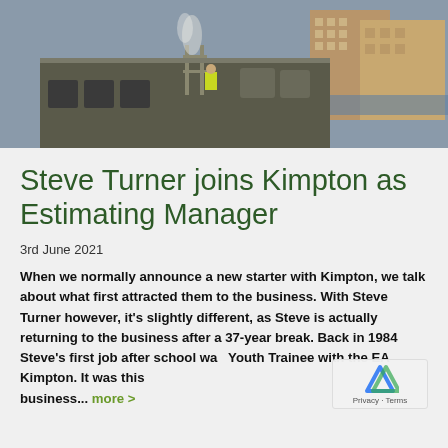[Figure (photo): Aerial view of a building rooftop with industrial equipment, scaffolding, and a worker in a yellow high-visibility jacket. City buildings visible in the background.]
Steve Turner joins Kimpton as Estimating Manager
3rd June 2021
When we normally announce a new starter with Kimpton, we talk about what first attracted them to the business. With Steve Turner however, it's slightly different, as Steve is actually returning to the business after a 37-year break. Back in 1984 Steve's first job after school was Youth Trainee with the EA Kimpton. It was this business... more >